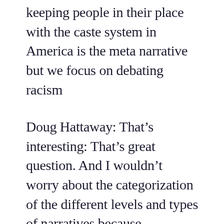keeping people in their place with the caste system in America is the meta narrative but we focus on debating racism
Doug Hattaway: That's interesting: That's great question. And I wouldn't worry about the categorization of the different levels and types of narratives because ultimately you're going to be contending with big ideas that work together at different levels.